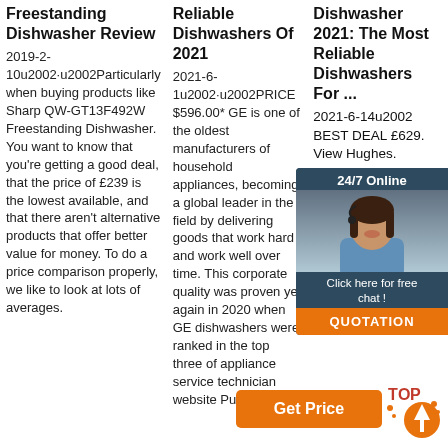Freestanding Dishwasher Review
2019-2-10u2002·u2002Particularly when buying products like Sharp QW-GT13F492W Freestanding Dishwasher. You want to know that you're getting a good deal, that the price of £239 is the lowest available, and that there aren't alternative products that offer better value for money. To do a price comparison properly, we like to look at lots of averages.
Reliable Dishwashers Of 2021
2021-6-1u2002·u2002PRICE $596.00* GE is one of the oldest manufacturers of household appliances, becoming a global leader in the field by delivering goods that work hard and work well over time. This corporate quality was proven yet again in 2020 when GE dishwashers were ranked in the top three of appliance service technician website Puls
Dishwasher 2021: The Most Reliable Dishwashers For ...
2021-6-14u2002 BEST DEAL £629. View Hughes. Amazon. produces dishwashers most of the time exceedingly efficient and highly reliable. The T3 Award Winning SMS67MW00G is a top ...
[Figure (illustration): Customer service representative with headset, 24/7 Online banner, Click here for free chat, QUOTATION button advertisement overlay]
[Figure (illustration): Get Price orange button with TOP logo icon]